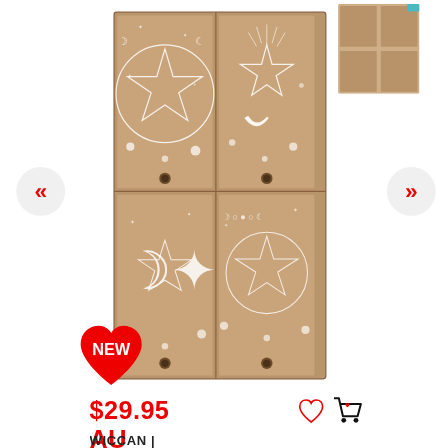[Figure (photo): Wiccan trinket drawers wooden box with moon, star and pentagram engravings on four drawers, shown as main product image. Thumbnail of second angle visible top right. Navigation arrows on left and right sides. Red heart NEW badge bottom left of image.]
$29.95 AU
WICCAN | TRINKET DRAWERS
GOTHIC GIFTS
CUSTOMER REVIEWS